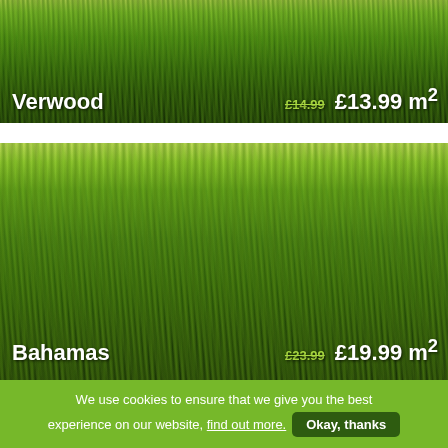[Figure (photo): Close-up photo of Verwood artificial grass, showing green blades from a low angle against a dark background. Text overlay shows product name 'Verwood' on left and price '£14.99 £13.99 m²' on right.]
[Figure (photo): Close-up photo of Bahamas artificial grass, showing lush thick green blades from a side angle. Text overlay shows product name 'Bahamas' on left and price '£23.99 £19.99 m²' on right.]
We use cookies to ensure that we give you the best experience on our website, find out more. Okay, thanks